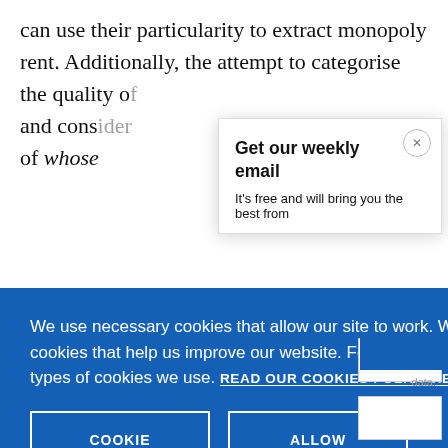can use their particularity to extract monopoly rent. Additionally, the attempt to categorise the quality o[f] and cons[ider] of whose
[Figure (screenshot): A popup overlay titled 'Get our weekly email' with subtitle 'It's free and will bring you the best from' and a close (x) button in the top right corner.]
[Figure (screenshot): A blue cookie consent banner reading: 'We use necessary cookies that allow our site to work. We also set optional cookies that help us improve our website. For more information about the types of cookies we use. READ OUR COOKIES POLICY HERE' with two buttons: 'COOKIE SETTINGS' and 'ALLOW ALL COOKIES'.]
curtailed